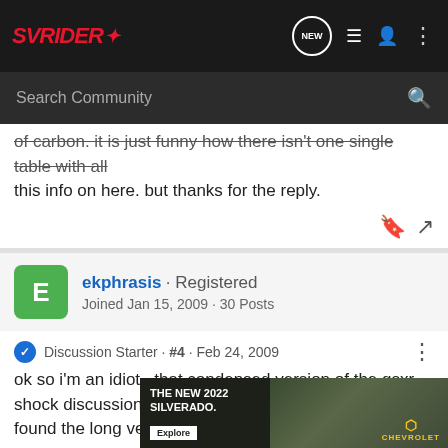SVRider · NEW · [menu icon] · [user icon] · [dots icon]
Search Community
of carbon. it is just funny how there isn't one single table with all this info on here. but thanks for the reply.
ekphrasis · Registered
Joined Jan 15, 2009 · 30 Posts
Discussion Starter · #4 · Feb 24, 2009
ok so i'm an idiot...that condensed version of the gsxr shock discussion is exactly what i'm looking for. i only found the long version,
[Figure (screenshot): THE NEW 2022 SILVERADO. Explore. Chevrolet advertisement banner with truck image.]